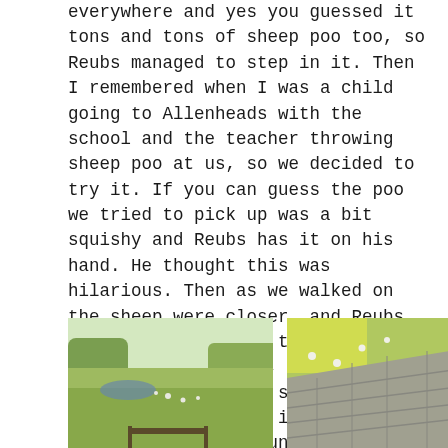everywhere and yes you guessed it tons and tons of sheep poo too, so Reubs managed to step in it. Then I remembered when I was a child going to Allenheads with the school and the teacher throwing sheep poo at us, so we decided to try it. If you can guess the poo we tried to pick up was a bit squishy and Reubs has it on his hand. He thought this was hilarious. Then as we walked on the sheep were closer, and Reubs just walked towards them quietly and with confidence, and they just moved aside. I love showing him the right way to be in the countryside and around animals.
[Figure (photo): Outdoor countryside scene with green fields, trees, and a pond in the background. Some sheep or animals visible in the distance.]
[Figure (photo): Aerial or elevated view of green grass and a stone wall or paved surface, with small white dots possibly sheep.]